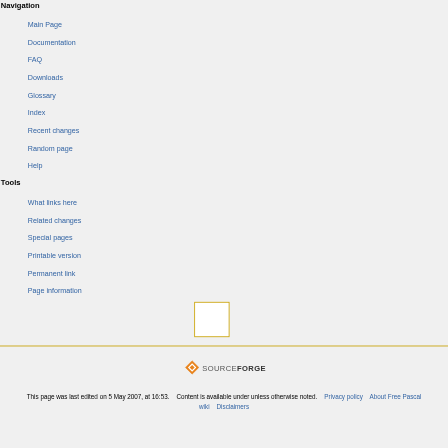Navigation
Main Page
Documentation
FAQ
Downloads
Glossary
Index
Recent changes
Random page
Help
Tools
What links here
Related changes
Special pages
Printable version
Permanent link
Page information
[Figure (logo): SourceForge logo with orange diamond icon]
This page was last edited on 5 May 2007, at 16:53.    Content is available under unless otherwise noted.    Privacy policy    About Free Pascal wiki    Disclaimers